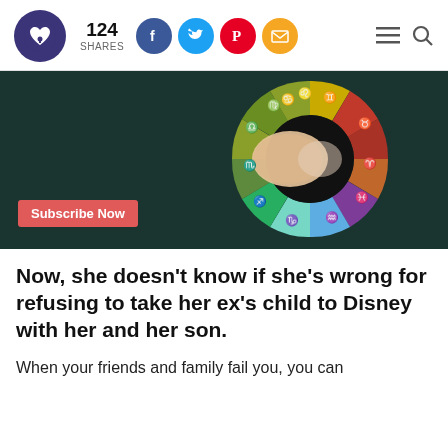124 SHARES — social share bar with Facebook, Twitter, Pinterest, Email buttons, hamburger menu, search icon, and site logo
[Figure (illustration): Zodiac wheel with colorful segments (cancer, taurus, scorpio, etc.) and a hand pointing at the wheel on a dark teal background. A red 'Subscribe Now' button overlay at the bottom left.]
Now, she doesn't know if she's wrong for refusing to take her ex's child to Disney with her and her son.
When your friends and family fail you, you can